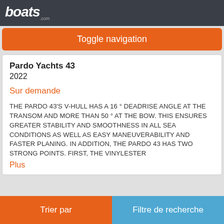boats.com
Toggle navigation
Pardo Yachts 43
2022
Sur demande
THE PARDO 43'S V-HULL HAS A 16 ° DEADRISE ANGLE AT THE TRANSOM AND MORE THAN 50 ° AT THE BOW. THIS ENSURES GREATER STABILITY AND SMOOTHNESS IN ALL SEA CONDITIONS AS WELL AS EASY MANEUVERABILITY AND FASTER PLANING. IN ADDITION, THE PARDO 43 HAS TWO STRONG POINTS. FIRST, THE VINYLESTER
Plus
Trier par | Filtre de recherche